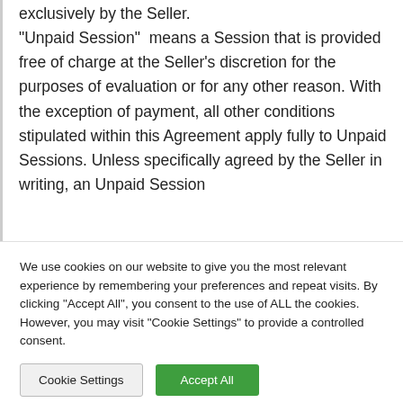exclusively by the Seller. “Unpaid Session”  means a Session that is provided free of charge at the Seller’s discretion for the purposes of evaluation or for any other reason. With the exception of payment, all other conditions stipulated within this Agreement apply fully to Unpaid Sessions. Unless specifically agreed by the Seller in writing, an Unpaid Session
We use cookies on our website to give you the most relevant experience by remembering your preferences and repeat visits. By clicking “Accept All”, you consent to the use of ALL the cookies. However, you may visit "Cookie Settings" to provide a controlled consent.